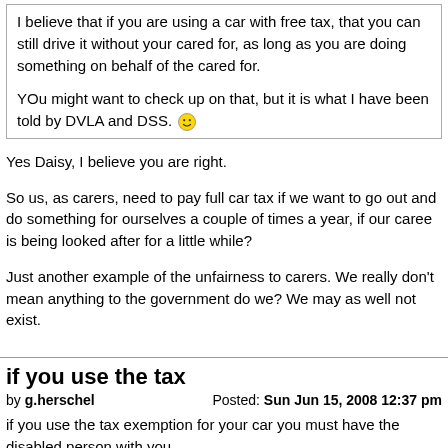I believe that if you are using a car with free tax, that you can still drive it without your cared for, as long as you are doing something on behalf of the cared for.

YOu might want to check up on that, but it is what I have been told by DVLA and DSS. :)
Yes Daisy, I believe you are right.
So us, as carers, need to pay full car tax if we want to go out and do something for ourselves a couple of times a year, if our caree is being looked after for a little while?
Just another example of the unfairness to carers. We really don't mean anything to the government do we? We may as well not exist.
if you use the tax
by g.herschel    Posted: Sun Jun 15, 2008 12:37 pm
if you use the tax exemption for your car you must have the disabled person with you .
or you must be useing the vehicle for the benefit of the disabled person.